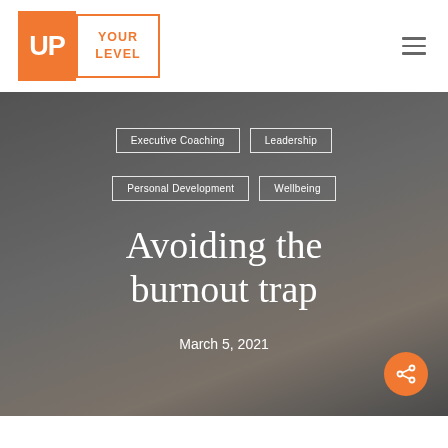[Figure (logo): Up Your Level logo — orange square with white bold 'UP' text, next to an orange-bordered rectangle with 'YOUR LEVEL' text in orange]
Executive Coaching
Leadership
Personal Development
Wellbeing
Avoiding the burnout trap
March 5, 2021